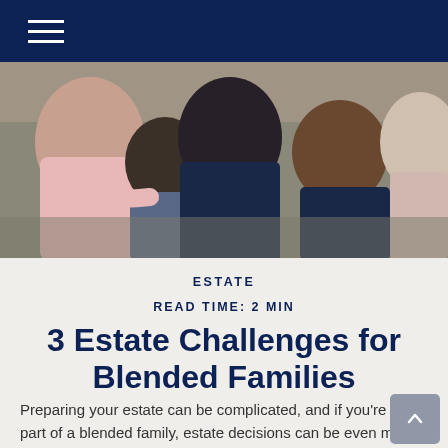Navigation bar with hamburger menu
[Figure (photo): Family photo showing adults and children of a blended family sitting together outdoors]
ESTATE
READ TIME: 2 MIN
3 Estate Challenges for Blended Families
Preparing your estate can be complicated, and if you're a part of a blended family, estate decisions can be even more complex and nuanced. Blended families take on many forms